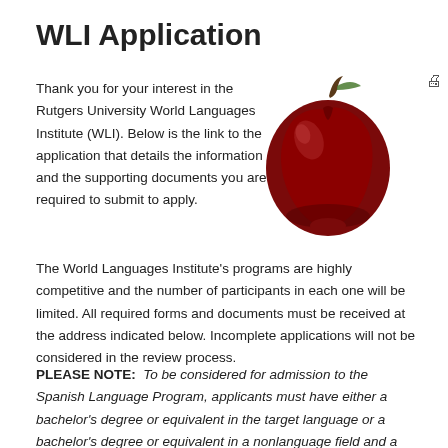WLI Application
[Figure (illustration): A red apple with a brown stem on a white background]
Thank you for your interest in the Rutgers University World Languages Institute (WLI). Below is the link to the application that details the information and the supporting documents you are required to submit to apply.
The World Languages Institute's programs are highly competitive and the number of participants in each one will be limited. All required forms and documents must be received at the address indicated below. Incomplete applications will not be considered in the review process.
PLEASE NOTE:  To be considered for admission to the Spanish Language Program, applicants must have either a bachelor's degree or equivalent in the target language or a bachelor's degree or equivalent in a nonlanguage field and a minor (consisting of a